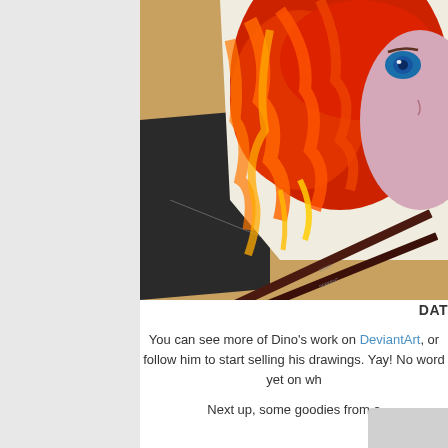[Figure (photo): A colored pencil drawing in progress of Merida from Brave (Disney/Pixar), showing her bright red curly hair and blue eye, with dark red/brown colored pencils resting on the artwork, placed on a drawing board on a wooden table.]
DAT
You can see more of Dino's work on DeviantArt, or follow him to start selling his drawings. Yay! No word yet on wh
Next up, some goodies from a